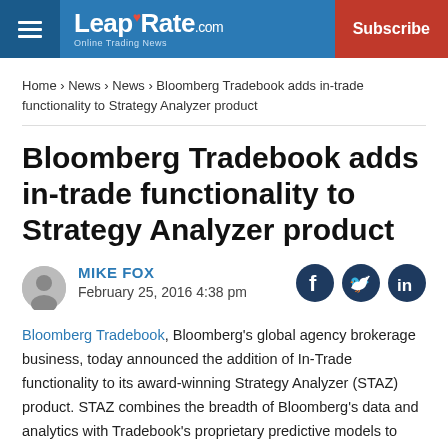LeapRate.com — Subscribe
Home › News › News › Bloomberg Tradebook adds in-trade functionality to Strategy Analyzer product
Bloomberg Tradebook adds in-trade functionality to Strategy Analyzer product
MIKE FOX
February 25, 2016 4:38 pm
Bloomberg Tradebook, Bloomberg's global agency brokerage business, today announced the addition of In-Trade functionality to its award-winning Strategy Analyzer (STAZ) product. STAZ combines the breadth of Bloomberg's data and analytics with Tradebook's proprietary predictive models to help traders evaluate and adjust their trading strategies in real-time to achieve better execution results.